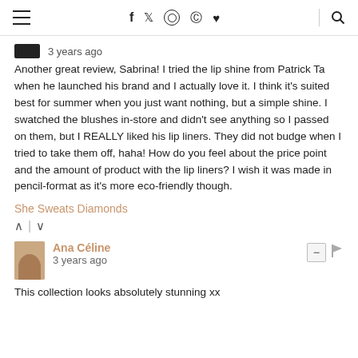≡  f  twitter  instagram  pinterest  ♥  🔍
3 years ago
Another great review, Sabrina! I tried the lip shine from Patrick Ta when he launched his brand and I actually love it. I think it's suited best for summer when you just want nothing, but a simple shine. I swatched the blushes in-store and didn't see anything so I passed on them, but I REALLY liked his lip liners. They did not budge when I tried to take them off, haha! How do you feel about the price point and the amount of product with the lip liners? I wish it was made in pencil-format as it's more eco-friendly though.
She Sweats Diamonds
↑ | ↓
Ana Céline
3 years ago
This collection looks absolutely stunning xx